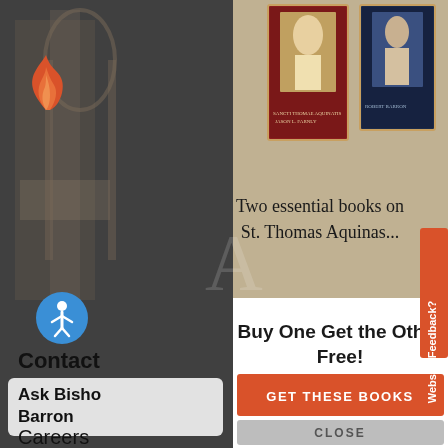[Figure (screenshot): Website screenshot showing a popup/modal overlay on a Catholic media website (Word on Fire). Left side shows a dark navigation sidebar with a flame logo, accessibility button, 'Contact' section, 'Ask Bishop Barron' link, and 'Careers' link. The main popup shows two books about St. Thomas Aquinas on a tan background, with text 'Two essential books on St. Thomas Aquinas...'. Below is a white modal area with bold text 'Buy One Get the Other Free!', an orange 'GET THESE BOOKS' button, and a gray 'CLOSE' button. A vertical orange 'Website Feedback?' tab appears on the right edge.]